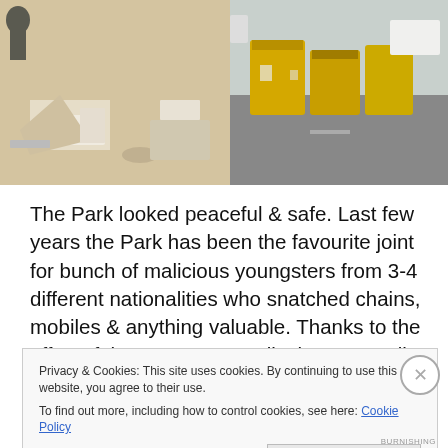[Figure (photo): Outdoor photo showing scattered litter and debris on the left side, and yellow dumpster/garbage containers with vehicles visible in the background on the right side.]
The Park looked peaceful & safe. Last few years the Park has been the favourite joint for bunch of malicious youngsters from 3-4 different nationalities who snatched chains, mobiles & anything valuable. Thanks to the effort of the cops, eventually they were all arrested… not sure deported or rotting in the jail. How stupid of those young
Privacy & Cookies: This site uses cookies. By continuing to use this website, you agree to their use.
To find out more, including how to control cookies, see here: Cookie Policy